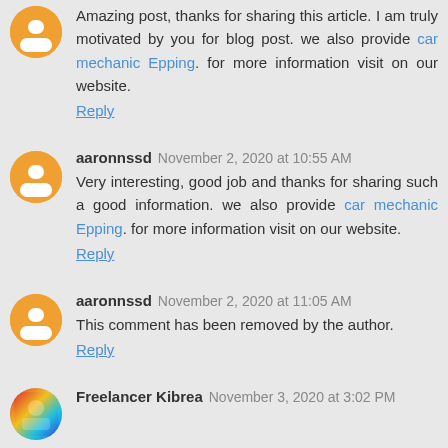Amazing post, thanks for sharing this article. I am truly motivated by you for blog post. we also provide car mechanic Epping. for more information visit on our website.
Reply
aaronnssd November 2, 2020 at 10:55 AM
Very interesting, good job and thanks for sharing such a good information. we also provide car mechanic Epping. for more information visit on our website.
Reply
aaronnssd November 2, 2020 at 11:05 AM
This comment has been removed by the author.
Reply
Freelancer Kibrea November 3, 2020 at 3:02 PM